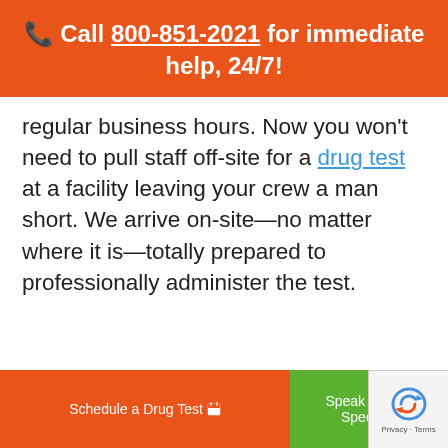📞 Call 800-851-2021 for immediate help, 24/7!
regular business hours. Now you won't need to pull staff off-site for a drug test at a facility leaving your crew a man short. We arrive on-site—no matter where it is—totally prepared to professionally administer the test.
Schedule a Drug Test
Speak with a Specialist